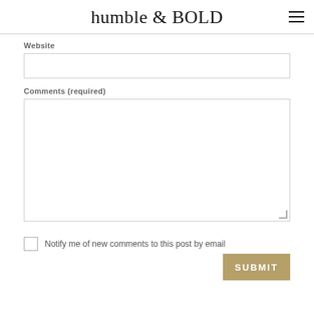humble & BOLD
Website
Comments (required)
Notify me of new comments to this post by email
SUBMIT